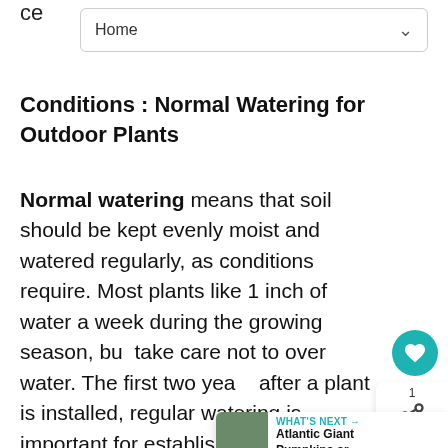ce
[Figure (screenshot): Dropdown navigation box with 'Home' label and chevron arrow]
Conditions : Normal Watering for Outdoor Plants
Normal watering means that soil should be kept evenly moist and watered regularly, as conditions require. Most plants like 1 inch of water a week during the growing season, but take care not to over water. The first two years after a plant is installed, regular watering is important for establishment. The first year is critical. It is better to water once a week and water deeply, than to water frequently for a few minutes.